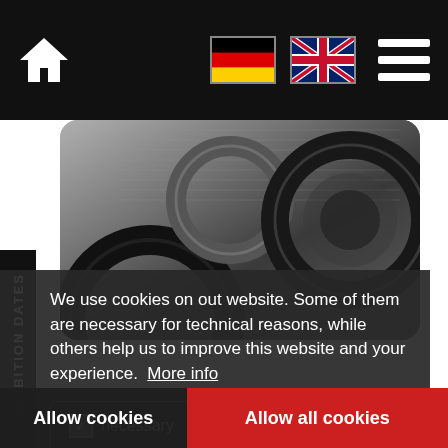[Figure (screenshot): Website navigation bar with home icon, German flag, UK flag, and hamburger menu on black background]
[Figure (photo): Close-up photo of metal machinery rings/washers on a ridged metal surface]
EXHIBITION DATES
We use cookies on out website. Some of them are necessary for technical reasons, while others help us to improve this website and your experience.  More info
necessary  statistics  marketing
Allow cookies
Allow all cookies